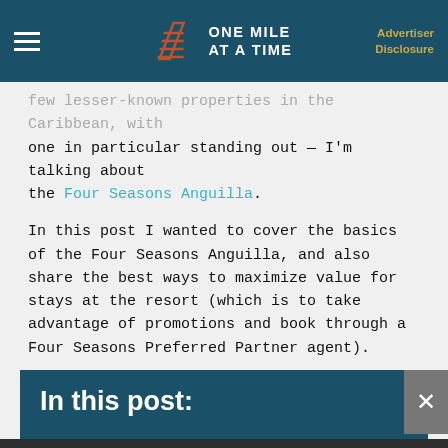ONE MILE AT A TIME | Advertiser Disclosure
few lesser-known properties in the Caribbean, with one in particular standing out — I'm talking about the Four Seasons Anguilla.
In this post I wanted to cover the basics of the Four Seasons Anguilla, and also share the best ways to maximize value for stays at the resort (which is to take advantage of promotions and book through a Four Seasons Preferred Partner agent).
In this post:
Four Seasons Anguilla basics
Four Seasons Anguilla room types